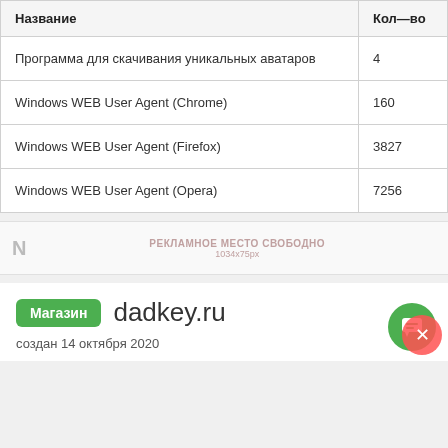| Название | Кол—во |
| --- | --- |
| Программа для скачивания уникальных аватаров | 4 |
| Windows WEB User Agent (Chrome) | 160 |
| Windows WEB User Agent (Firefox) | 3827 |
| Windows WEB User Agent (Opera) | 7256 |
N  РЕКЛАМНОЕ МЕСТО СВОБОДНО 1034x75px
Магазин  dadkey.ru
создан 14 октября 2020